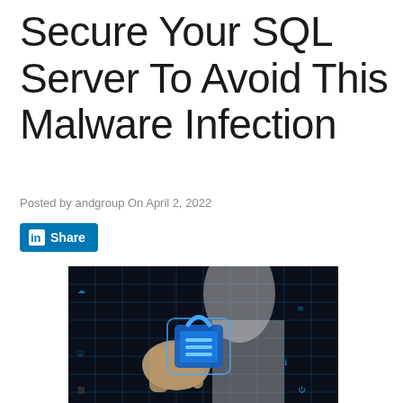Secure Your SQL Server To Avoid This Malware Infection
Posted by andgroup On April 2, 2022
[Figure (other): LinkedIn Share button with blue background]
[Figure (photo): Cybersecurity concept photo showing a hand holding a glowing blue padlock icon over a dark digital grid background with various technology icons]